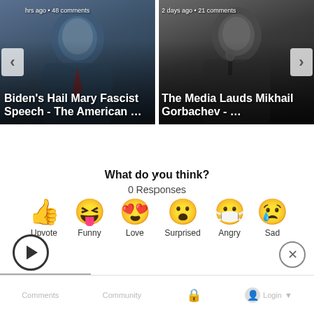[Figure (screenshot): Carousel of two article cards. Left card: photo of Biden speaking, meta text 'hrs ago · 48 comments', title 'Biden's Hail Mary Fascist Speech - The American …'. Right card: photo of Gorbachev speaking at microphone, meta text '2 days ago · 21 comments', title 'The Media Lauds Mikhail Gorbachev - …'. Navigation arrows on left and right sides.]
What do you think?
0 Responses
[Figure (infographic): Six emoji reaction buttons in a row: Upvote (thumbs up), Funny (grinning squinting face with tongue), Love (heart eyes), Surprised (wow face), Angry (face with medical mask and closed eyes), Sad (crying face with tear). Labels below each emoji.]